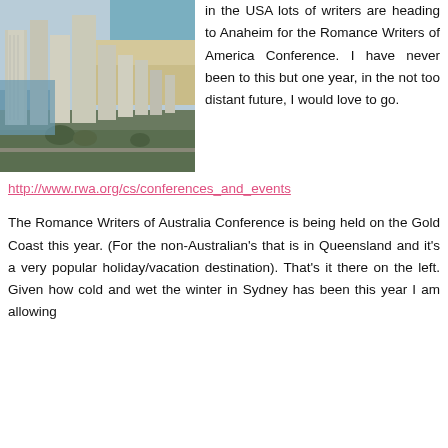[Figure (photo): Aerial photograph of Gold Coast, Australia, showing high-rise buildings along a beach coastline.]
in the USA lots of writers are heading to Anaheim for the Romance Writers of America Conference. I have never been to this but one year, in the not too distant future, I would love to go.
http://www.rwa.org/cs/conferences_and_events
The Romance Writers of Australia Conference is being held on the Gold Coast this year. (For the non-Australian's that is in Queensland and it's a very popular holiday/vacation destination). That's it there on the left. Given how cold and wet the winter in Sydney has been this year I am allowing